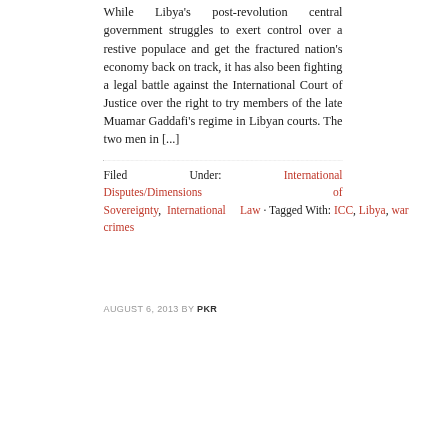While Libya's post-revolution central government struggles to exert control over a restive populace and get the fractured nation's economy back on track, it has also been fighting a legal battle against the International Court of Justice over the right to try members of the late Muamar Gaddafi's regime in Libyan courts. The two men in [...]
Filed Under: International Disputes/Dimensions of Sovereignty, International Law · Tagged With: ICC, Libya, war crimes
AUGUST 6, 2013 BY PKR